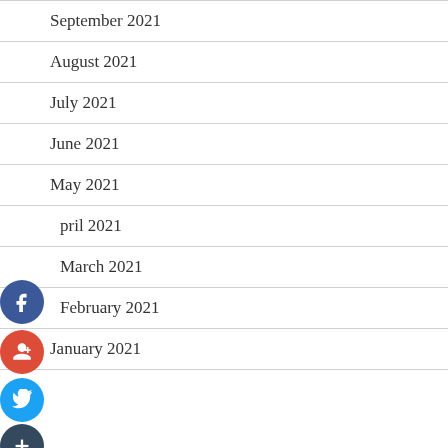September 2021
August 2021
July 2021
June 2021
May 2021
April 2021
March 2021
February 2021
January 2021